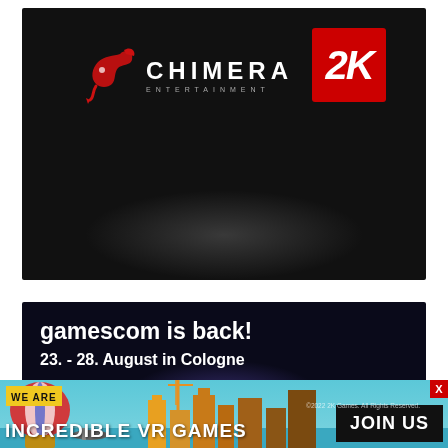[Figure (logo): Chimera Entertainment logo (red dragon icon + CHIMERA ENTERTAINMENT text) and 2K Games red square logo on dark background]
[Figure (screenshot): gamescom is back! 23. - 28. August in Cologne — text on dark background with planet/space imagery]
[Figure (infographic): Bottom banner advertisement: WE ARE INCREDIBLE VR GAMES | JOIN US — with colorful VR game city scene background]